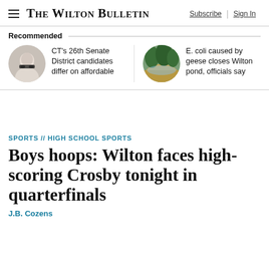The Wilton Bulletin — Subscribe | Sign In
Recommended
CT's 26th Senate District candidates differ on affordable
E. coli caused by geese closes Wilton pond, officials say
SPORTS // HIGH SCHOOL SPORTS
Boys hoops: Wilton faces high-scoring Crosby tonight in quarterfinals
J.B. Cozens